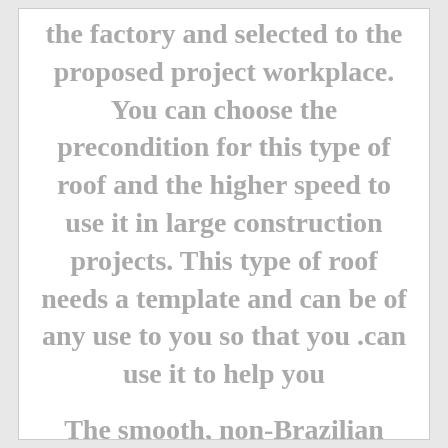the factory and selected to the proposed project workplace. You can choose the precondition for this type of roof and the higher speed to use it in large construction projects. This type of roof needs a template and can be of any use to you so that you .can use it to help you
The smooth, non-Brazilian surface may suggest that you can enjoy other viewers and present it as a false ceiling under the ceiling or shoes to